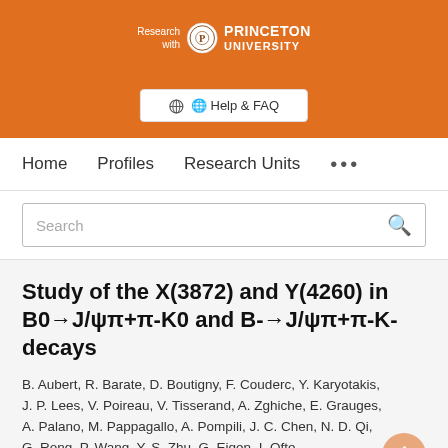[Figure (logo): Princeton University 'Research with Princeton University' logo on orange banner background with Help & FAQ button]
Home   Profiles   Research Units   ...
Search
Study of the X(3872) and Y(4260) in B0→J/ψπ+π-K0 and B-→J/ψπ+π-K- decays
B. Aubert, R. Barate, D. Boutigny, F. Couderc, Y. Karyotakis, J. P. Lees, V. Poireau, V. Tisserand, A. Zghiche, E. Grauges, A. Palano, M. Pappagallo, A. Pompili, J. C. Chen, N. D. Qi, G. Rong, P. Wang, Y. S. Zhu, G. Eigen, I. Ofte